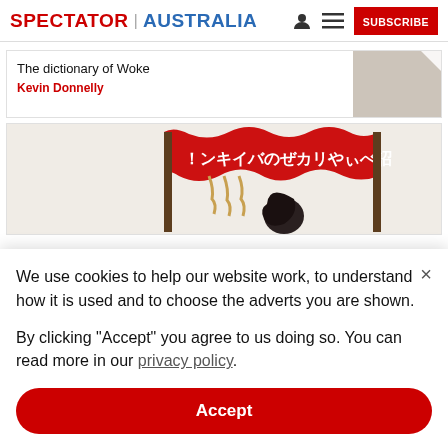SPECTATOR | AUSTRALIA
The dictionary of Woke
Kevin Donnelly
[Figure (illustration): Japanese woodblock-style illustration with red banner featuring Japanese text characters, and a figure with dark hair below]
We use cookies to help our website work, to understand how it is used and to choose the adverts you are shown.

By clicking "Accept" you agree to us doing so. You can read more in our privacy policy.
Accept